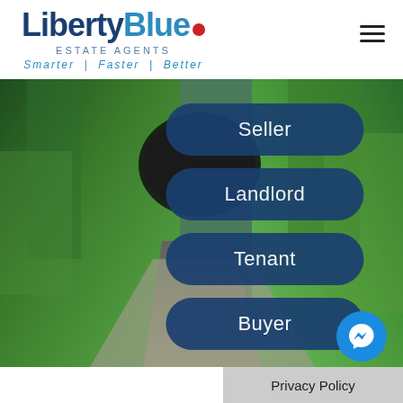[Figure (logo): Liberty Blue Estate Agents logo with tagline Smarter | Faster | Better]
[Figure (photo): Background photo of a tree-lined path/trail leading to a tunnel, with a cyclist riding away from the camera. Lush green ferns and trees on both sides.]
Seller
Landlord
Tenant
Buyer
[Figure (logo): Facebook Messenger icon button (blue circle with white lightning bolt/messenger logo)]
Privacy Policy